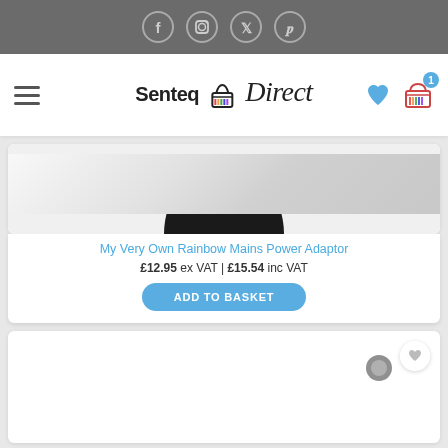[Figure (screenshot): Social media icons bar (Facebook, Instagram, Twitter, Pinterest) on dark grey background]
[Figure (logo): Senteq Direct logo with rainbow shopping basket, hamburger menu icon, heart wishlist icon, and basket with badge showing '1']
[Figure (photo): Product image area for Rainbow Mains Power Adaptor - white background with dark rounded shape visible]
My Very Own Rainbow Mains Power Adaptor
£12.95 ex VAT | £15.54 inc VAT
ADD TO BASKET
[Figure (photo): Second product card showing a diagonal purple/blue stylus pen with a grey circular tip, and a heart wishlist circle in top right corner]